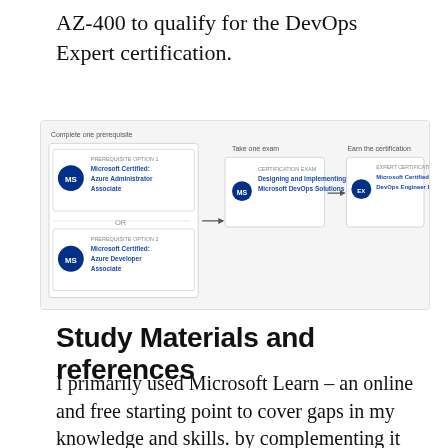AZ-400 to qualify for the DevOps Expert certification.
[Figure (flowchart): Microsoft certification pathway diagram showing: Complete one prerequisite (Option 1: Microsoft Certified Azure Administrator Associate OR Option 2: Microsoft Certified Azure Developer Associate) → Take one exam (Certification Exam: Designing and Implementing Microsoft DevOps Solutions) → Earn the certification (Expert Certification: Microsoft Certified DevOps Engineer Expert)]
Study Materials and references
I primarily used Microsoft Learn – an online and free starting point to cover gaps in my knowledge and skills. by complementing it with Pluralsight videos. I have combined the following list of resources that you might find handy 🙂